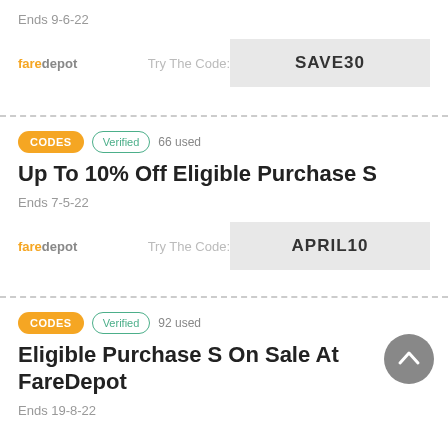Ends 9-6-22
Try The Code:
SAVE30
CODES  Verified  66 used
Up To 10% Off Eligible Purchase S
Ends 7-5-22
Try The Code:
APRIL10
CODES  Verified  92 used
Eligible Purchase S On Sale At FareDepot
Ends 19-8-22